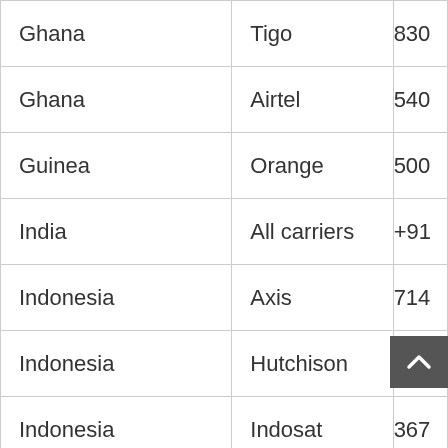| Ghana | Tigo | 830 |
| Ghana | Airtel | 540 |
| Guinea | Orange | 500 |
| India | All carriers | +91 |
| Indonesia | Axis | 714 |
| Indonesia | Hutchison | 466 |
| Indonesia | Indosat | 367 |
| Indonesia | Telkomsel | 466 |
| Indonesia | XL Axiata | 846 |